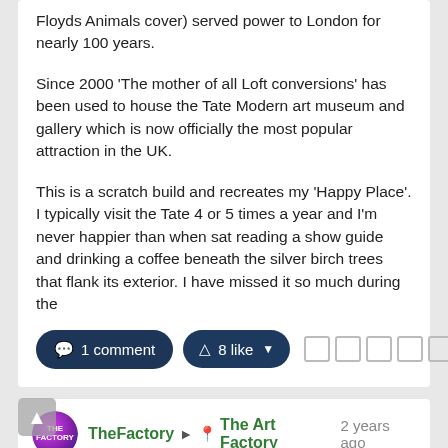Floyds Animals cover) served power to London for nearly 100 years.
Since 2000 'The mother of all Loft conversions' has been used to house the Tate Modern art museum and gallery which is now officially the most popular attraction in the UK.
This is a scratch build and recreates my 'Happy Place'. I typically visit the Tate 4 or 5 times a year and I'm never happier than when sat reading a show guide and drinking a coffee beneath the silver birch trees that flank its exterior. I have missed it so much during the
1 comment  8 like
TheFactory ► The Art Factory 2 years ago